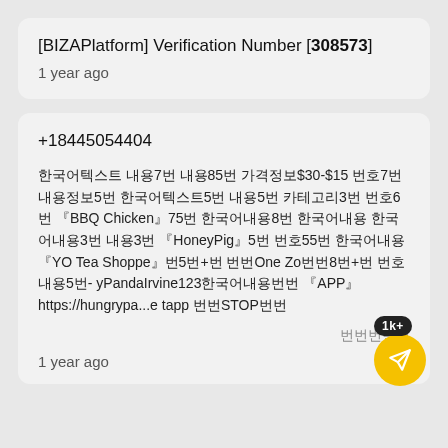[BIZAPlatform] Verification Number [308573]
1 year ago
+18445054404
한국어텍스트 내용7번 내용85번 가격정보$30-$15 번호7번 내용정보5번 한국어텍스트5번 내용5번 카테고리3번 번호6번 『BBQ Chicken』75번 한국어내용8번 한국어내용 한국어내용3번 내용3번 『HoneyPig』5번 번호55번 한국어내용 『YO Tea Shoppe』번5번+번 번번One Zo번번8번+번 번호내용5번- yPandaIrvine123한국어내용번번 『APP』https://hungrypa...e tapp 번번STOP번번
번번번번번
1 year ago